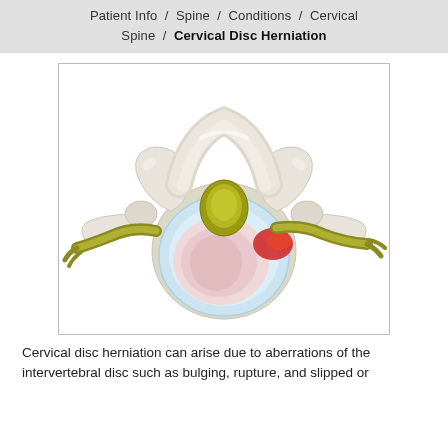Patient Info / Spine / Conditions / Cervical Spine / Cervical Disc Herniation
[Figure (illustration): 3D medical illustration showing a cross-sectional view of a cervical vertebra with disc herniation. The image depicts a white bone structure (vertebra) viewed from above, with a yellow-green spinal cord structure on top, a herniated disc (shown in pink/white) in the center, and nerve roots (in olive/yellow-green) extending laterally. A red area indicates the point of herniation/nerve impingement on the right side.]
Cervical disc herniation can arise due to aberrations of the intervertebral disc such as bulging, rupture, and slipped or